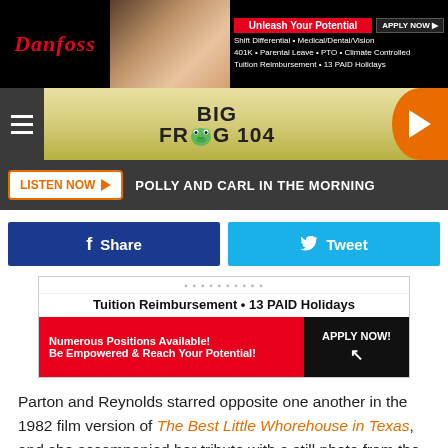[Figure (screenshot): Danfoss advertisement banner with logo, people photo, Unleash Your Potential headline, job benefits text, and Apply Now button]
[Figure (logo): Big Frog 104 radio station logo with frog face icon, yellow gradient navigation bar with hamburger menu and orange play button]
[Figure (screenshot): Listen Now button with orange outline and play arrow, followed by POLLY AND CARL IN THE MORNING text on dark bar]
[Figure (screenshot): Facebook Share button (dark blue) and Twitter Tweet button (light blue) side by side]
[Figure (screenshot): Danfoss mid-page advertisement with Tuition Reimbursement 13 PAID Holidays text, red Numerous Positions Available section, and Apply Now button]
Parton and Reynolds starred opposite one another in the 1982 film version of The Best Little Whorehouse in Texas, and she accompanied her tribute with a still photo from the film.
[Figure (screenshot): Danfoss advertisement banner at bottom with Unleash Your Potential, job benefits, and Apply Now button]